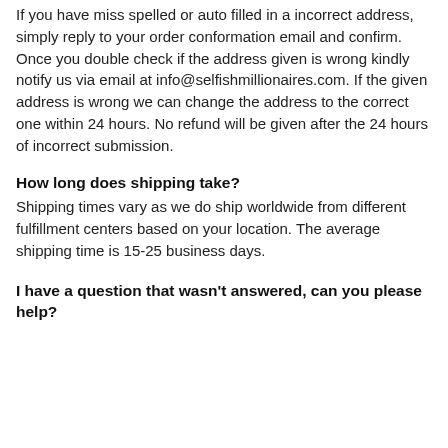If you have miss spelled or auto filled in a incorrect address, simply reply to your order conformation email and confirm. Once you double check if the address given is wrong kindly notify us via email at info@selfishmillionaires.com. If the given address is wrong we can change the address to the correct one within 24 hours. No refund will be given after the 24 hours of incorrect submission.
How long does shipping take?
Shipping times vary as we do ship worldwide from different fulfillment centers based on your location. The average shipping time is 15-25 business days.
I have a question that wasn't answered, can you please help?